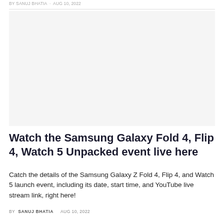BY SANUJ BHATIA · AUG 10, 2022
[Figure (photo): Blank/white image placeholder area for Samsung Galaxy Fold 4, Flip 4, Watch 5 article]
Watch the Samsung Galaxy Fold 4, Flip 4, Watch 5 Unpacked event live here
Catch the details of the Samsung Galaxy Z Fold 4, Flip 4, and Watch 5 launch event, including its date, start time, and YouTube live stream link, right here!
BY SANUJ BHATIA   AUG 10, 2022